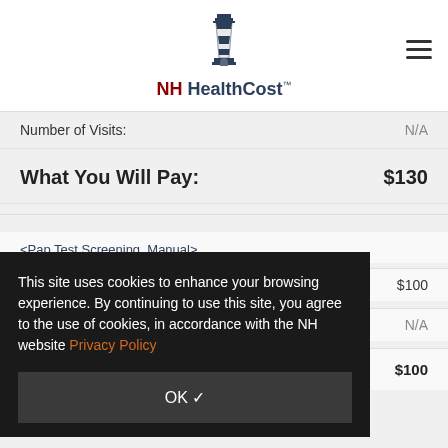NH HealthCost™
Number of Visits: N/A
What You Will Pay: $130
Pap Test Screening, Manual >
Estimate of Procedure Cost: $100
Number of Visits: N/A
What You Will Pay: $100
This site uses cookies to enhance your browsing experience. By continuing to use this site, you agree to the use of cookies, in accordance with the NH website Privacy Policy